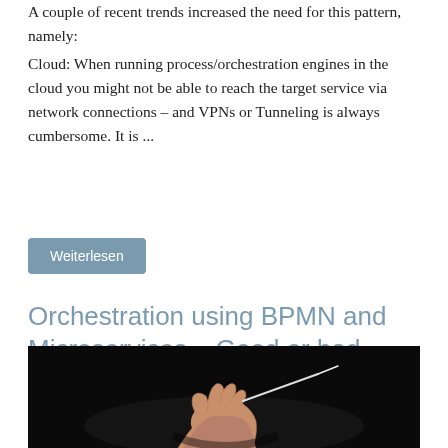A couple of recent trends increased the need for this pattern, namely:
Cloud: When running process/orchestration engines in the cloud you might not be able to reach the target service via network connections – and VPNs or Tunneling is always cumbersome. It is ...
Weiterlesen
Orchestration using BPMN and Microservices – Good or bad Practice?
9. April 2015, Bernd Rücker
[Figure (photo): Dark photograph showing a conductor's hands with a baton against a black background]